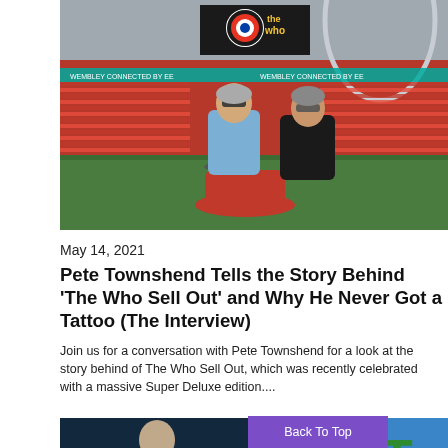[Figure (photo): Two men posing at Wembley stadium. One sitting on a red scooter wearing a denim jacket and sunglasses, another standing behind in a black puffer jacket with sunglasses. The Who logo banner visible in the background.]
May 14, 2021
Pete Townshend Tells the Story Behind ‘The Who Sell Out’ and Why He Never Got a Tattoo (The Interview)
Join us for a conversation with Pete Townshend for a look at the story behind of The Who Sell Out, which was recently celebrated with a massive Super Deluxe edition....
[Figure (photo): Two thumbnail images at the bottom of the page: left shows a man in dark background, right shows colorful lettering spelling EAT on a blue background.]
Back To Top